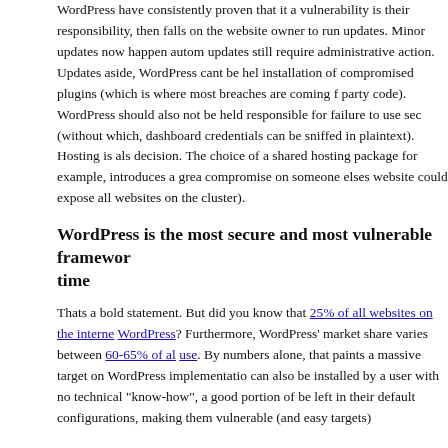WordPress have consistently proven that it a vulnerability is their responsibility, then falls on the website owner to run updates. Minor updates now happen automatically, major updates still require administrative action. Updates aside, WordPress cant be held responsible for installation of compromised plugins (which is where most breaches are coming from - third party code). WordPress should also not be held responsible for failure to use secure connections (without which, dashboard credentials can be sniffed in plaintext). Hosting is also a critical decision. The choice of a shared hosting package for example, introduces a great risk, as a compromise on someone elses website could expose all websites on the cluster).
WordPress is the most secure and most vulnerable framework at this time
Thats a bold statement. But did you know that 25% of all websites on the internet run WordPress? Furthermore, WordPress' market share varies between 60-65% of all CMS use. By numbers alone, that paints a massive target on WordPress implementations. As it can also be installed by a user with no technical "know-how", a good portion of installs will be left in their default configurations, making them vulnerable (and easy targets).
Bug fixing in software is an endless process. A study done by WordPress over a period of theme, core and plugin code showed that 80% of all updates were security related, confirming that the WordPress developers are quick to patch security vulnerabilities. The same study found other popular CMS systems, which could take weeks or even months to release a patch. WordPress had implemented within 24 hours of disclosure. The quick turn around on security patches make WordPress a secure platform (provided the site owner runs the updates).
Bottom line
No website or web application will ever be 100% secure. The only way to prevent...